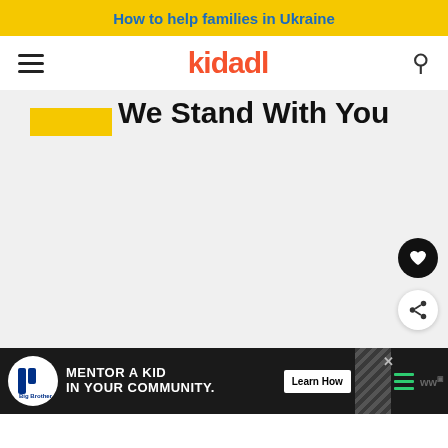How to help families in Ukraine
[Figure (logo): kidadl logo in orange text with hamburger menu on left and search icon on right]
We Stand With You
[Figure (screenshot): Heart (favorite) button, black circle with white heart icon]
[Figure (screenshot): Share button, white circle with share icon and plus sign]
[Figure (screenshot): Ad banner: Big Brothers Big Sisters logo, MENTOR A KID IN YOUR COMMUNITY. Learn How button, hatched pattern, green menu lines, close X button]